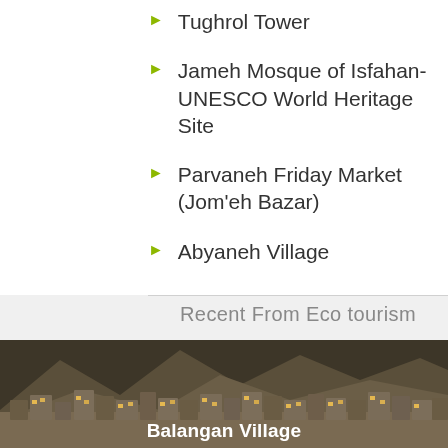Tughrol Tower
Jameh Mosque of Isfahan- UNESCO World Heritage Site
Parvaneh Friday Market (Jom'eh Bazar)
Abyaneh Village
Recent From Eco tourism
[Figure (photo): Nighttime photo of Balangan Village built into a hillside with mountains behind it, lights glowing from windows]